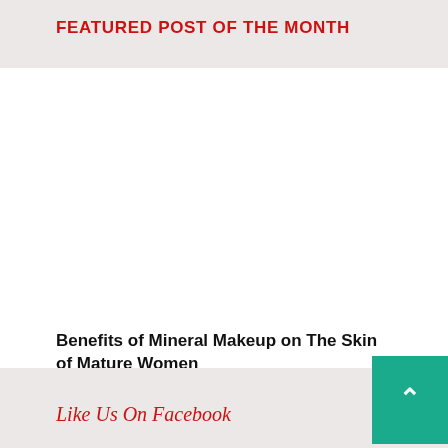FEATURED POST OF THE MONTH
[Figure (photo): Blank white image placeholder for featured post photo]
Benefits of Mineral Makeup on The Skin of Mature Women
Like Us On Facebook